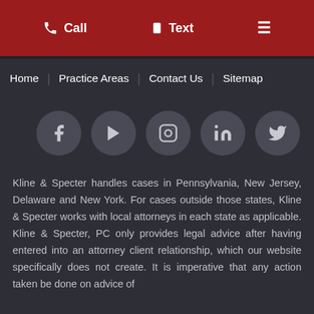Call  Text
Home  Practice Areas  Contact Us  Sitemap
[Figure (infographic): Row of 5 social media icon circles: Facebook, YouTube, Instagram, LinkedIn, Twitter]
Kline & Specter handles cases in Pennsylvania, New Jersey, Delaware and New York. For cases outside those states, Kline & Specter works with local attorneys in each state as applicable. Kline & Specter, PC only provides legal advice after having entered into an attorney client relationship, which our website specifically does not create. It is imperative that any action taken be done on advice of